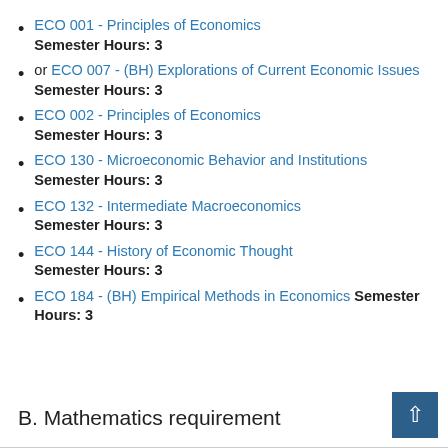ECO 001 - Principles of Economics Semester Hours: 3
or ECO 007 - (BH) Explorations of Current Economic Issues Semester Hours: 3
ECO 002 - Principles of Economics Semester Hours: 3
ECO 130 - Microeconomic Behavior and Institutions Semester Hours: 3
ECO 132 - Intermediate Macroeconomics Semester Hours: 3
ECO 144 - History of Economic Thought Semester Hours: 3
ECO 184 - (BH) Empirical Methods in Economics Semester Hours: 3
B. Mathematics requirement